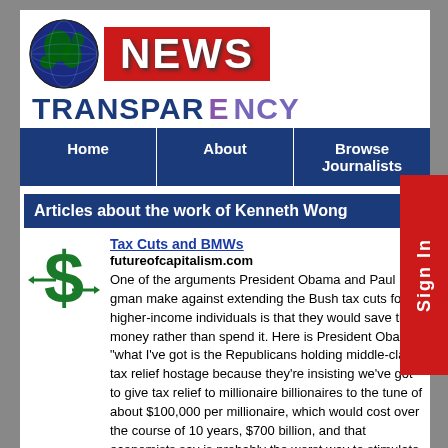[Figure (logo): News Transparency logo with globe icon, red NEWS box, and blue TRANSPARENCY text]
Home | About | Browse Journalists
Articles about the work of Kenneth Wong
Tax Cuts and BMWs
futureofcapitalism.com
One of the arguments President Obama and Paul Krugman make against extending the Bush tax cuts for higher-income individuals is that they would save the money rather than spend it. Here is President Obama: "what I've got is the Republicans holding middle-class tax relief hostage because they're insisting we've got to give tax relief to millionaires billionaires to the tune of about $100,000 per millionaire, which would cost over the course of 10 years, $700 billion, and that economists say is probably the worst way to stimulate the economy." Here is Paul Krugman: "Isn't keeping taxes for the affluent low also a form of stimulus? Not so you'd notice. When we save a schoolteacher's job,